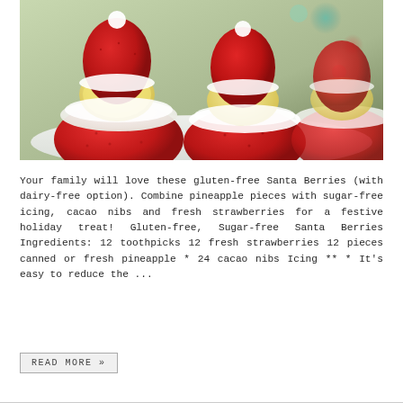[Figure (photo): Photo of strawberry Santa Claus desserts made from strawberries, pineapple pieces, whipped cream/icing, and cacao nibs, arranged on a white plate with a Christmas tree in the background.]
Your family will love these gluten-free Santa Berries (with dairy-free option). Combine pineapple pieces with sugar-free icing, cacao nibs and fresh strawberries for a festive holiday treat! Gluten-free, Sugar-free Santa Berries Ingredients: 12 toothpicks 12 fresh strawberries 12 pieces canned or fresh pineapple * 24 cacao nibs Icing ** * It's easy to reduce the...
READ MORE »